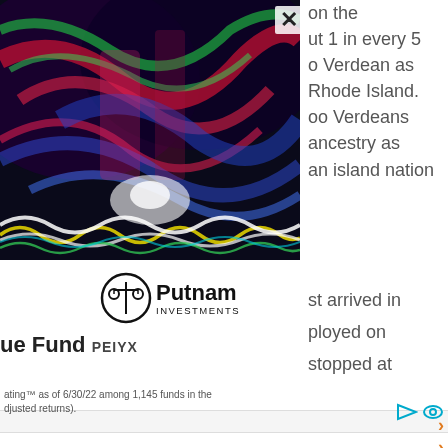[Figure (photo): Colorful abstract light streaks photo with vibrant colors — red, blue, green, yellow — on dark background, with wavy light trails at the bottom.]
on the
ut 1 in every 5
o Verdean as
Rhode Island.
oo Verdeans
ancestry as
an island nation
[Figure (logo): Putnam Investments logo — circular scale icon with 'Putnam INVESTMENTS' text]
ue Fund PEIYX
st arrived in
ployed on
stopped at
ating™ as of 6/30/22 among 1,145 funds in the
djusted returns).